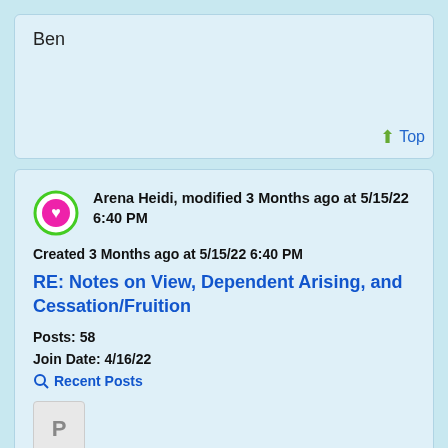Ben
↑ Top
Arena Heidi, modified 3 Months ago at 5/15/22 6:40 PM
Created 3 Months ago at 5/15/22 6:40 PM
RE: Notes on View, Dependent Arising, and Cessation/Fruition
Posts: 58
Join Date: 4/16/22
Recent Posts
P